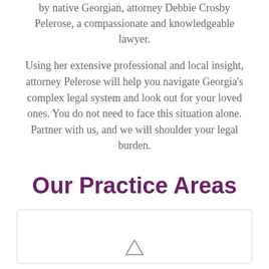by native Georgian, attorney Debbie Crosby Pelerose, a compassionate and knowledgeable lawyer.
Using her extensive professional and local insight, attorney Pelerose will help you navigate Georgia's complex legal system and look out for your loved ones. You do not need to face this situation alone. Partner with us, and we will shoulder your legal burden.
Our Practice Areas
[Figure (other): A card/box element with a small icon at the bottom center, likely representing a practice area category]